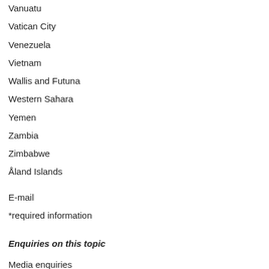Vanuatu
Vatican City
Venezuela
Vietnam
Wallis and Futuna
Western Sahara
Yemen
Zambia
Zimbabwe
Åland Islands
E-mail
*required information
Enquiries on this topic
Media enquiries
press.services@nokia.com
Tel. +358 10448 4900
Helsinki · Afternoon GMT +1 / CET